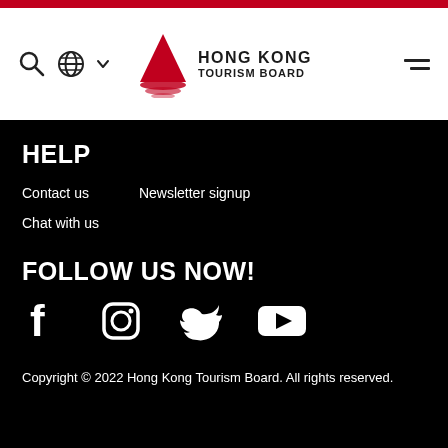[Figure (logo): Hong Kong Tourism Board logo with red junk boat sail icon and text HONG KONG TOURISM BOARD]
HELP
Contact us
Newsletter signup
Chat with us
FOLLOW US NOW!
[Figure (illustration): Social media icons: Facebook, Instagram, Twitter, YouTube]
Copyright © 2022 Hong Kong Tourism Board. All rights reserved.